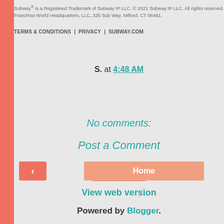Subway® is a Registered Trademark of Subway IP LLC. © 2021 Subway IP LLC. All rights reserved. Franchise World Headquarters, LLC, 325 Sub Way, Milford, CT 06461.
TERMS & CONDITIONS | PRIVACY | SUBWAY.COM
S. at 4:48 AM
Share
No comments:
Post a Comment
‹
Home
View web version
Powered by Blogger.